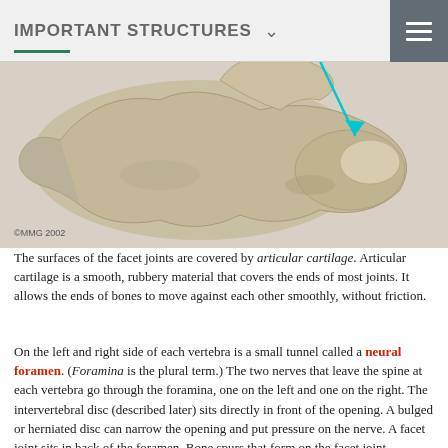IMPORTANT STRUCTURES
[Figure (illustration): 3D anatomical illustration of a vertebra showing facet joints and articular structures, with a teal arrow pointing to a specific region. Copyright MMG 2002.]
©MMG 2002
The surfaces of the facet joints are covered by articular cartilage. Articular cartilage is a smooth, rubbery material that covers the ends of most joints. It allows the ends of bones to move against each other smoothly, without friction.
On the left and right side of each vertebra is a small tunnel called a neural foramen. (Foramina is the plural term.) The two nerves that leave the spine at each vertebra go through the foramina, one on the left and one on the right. The intervertebral disc (described later) sits directly in front of the opening. A bulged or herniated disc can narrow the opening and put pressure on the nerve. A facet joint sits in back of the foramen. Bone spurs that form on the facet joint